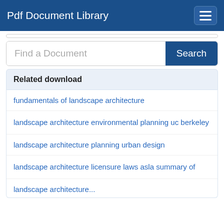Pdf Document Library
Find a Document
Related download
fundamentals of landscape architecture
landscape architecture environmental planning uc berkeley
landscape architecture planning urban design
landscape architecture licensure laws asla summary of
landscape architecture...